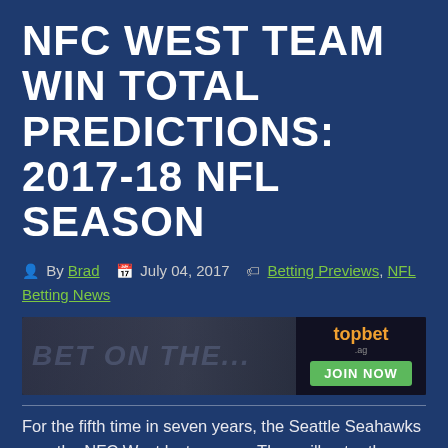NFC WEST TEAM WIN TOTAL PREDICTIONS: 2017-18 NFL SEASON
By Brad   July 04, 2017   Betting Previews, NFL Betting News
[Figure (other): topbet advertisement banner with stadium background, topbet logo and JOIN NOW button]
For the fifth time in seven years, the Seattle Seahawks won the NFC West last season. They will enter the season as big -390 favorites to make it six titles in nine years, with half the division in rebuilding mode. Let's find out exactly how the season shakes out for all four teams and whether they go over or under their expected win totals.